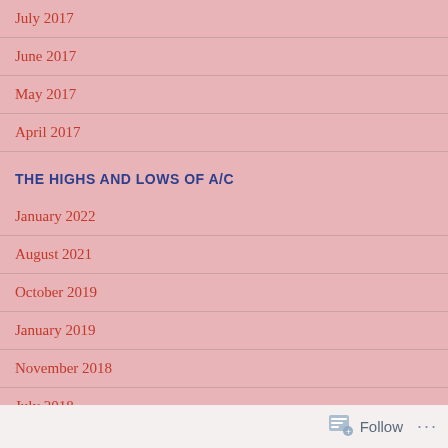July 2017
June 2017
May 2017
April 2017
THE HIGHS AND LOWS OF A/C
January 2022
August 2021
October 2019
January 2019
November 2018
July 2018
April 2018
January 2018
Follow ...